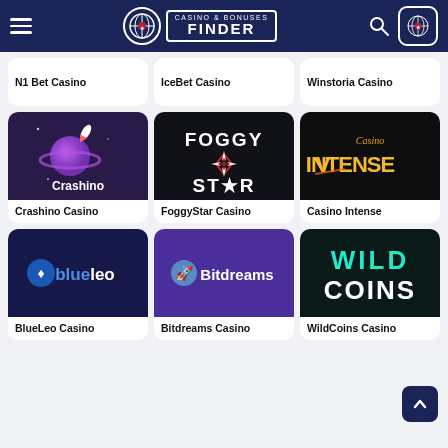Casino & Bonuses Finder
N1 Bet Casino
IceBet Casino
Winstoria Casino
[Figure (logo): Crashino Casino logo — purple planet and rocket on dark purple background]
Crashino Casino
[Figure (logo): FoggyStar Casino logo — FOGGY STAR text with diamond star icon on black background]
FoggyStar Casino
[Figure (logo): Casino Intense logo — golden Intense text with Casino script on black background]
Casino Intense
[Figure (logo): BlueLeo Casino logo — blue lion icon with blueleo text on dark navy background]
BlueLeo Casino
[Figure (logo): Bitdreams Casino logo — rocket icon with Bitdreams text on purple background]
Bitdreams Casino
[Figure (logo): WildCoins Casino logo — WILD COINS text in teal/white on dark background]
WildCoins Casino